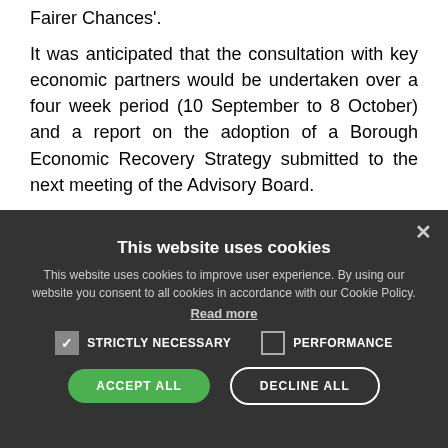Fairer Chances'.
It was anticipated that the consultation with key economic partners would be undertaken over a four week period (10 September to 8 October) and a report on the adoption of a Borough Economic Recovery Strategy submitted to the next meeting of the Advisory Board.
[Figure (screenshot): Cookie consent dialog overlay with dark background. Title: 'This website uses cookies'. Body text about cookie policy. Checkboxes for STRICTLY NECESSARY (checked) and PERFORMANCE (unchecked). Buttons: ACCEPT ALL (green) and DECLINE ALL (outline). Close X button top-right.]